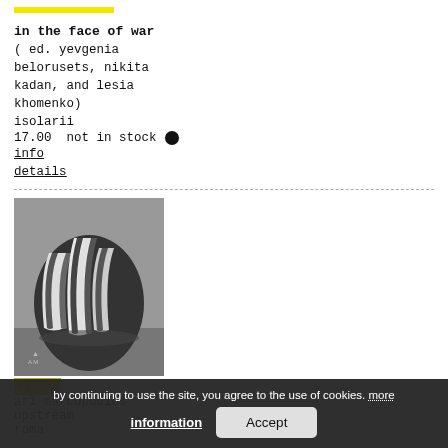in the face of war
( ed. yevgenia belorusets, nikita kadan, and lesia khomenko)
isolarii
17.00  not in stock
info
details
[Figure (photo): Black and white photo of a book cover for 'in the face of war', showing abstract sculptural forms with striped/folded elements against a dark background.]
e17513
ari marcopoulos
upstream
roma
by continuing to use the site, you agree to the use of cookies. more